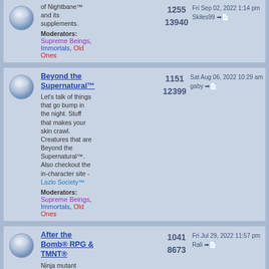Nightbane™ and its supplements. Moderators: Supreme Beings, Immortals, Old Ones. Posts: 1255, Topics: 13940. Last post: Fri Sep 02, 2022 1:14 pm by Skiles99
Beyond the Supernatural™ - Let's talk of things that go bump in the night. Stuff that makes your skin crawl. Creatures that are Beyond the Supernatural™. Also checkout the in-character site - Lazlo Society™. Moderators: Supreme Beings, Immortals, Old Ones. Posts: 1151, Topics: 12399. Last post: Sat Aug 06, 2022 10:29 am by gaby
After the Bomb® RPG & TMNT® - Ninja mutant creatures unite. Here's the place to do it. Moderators: Supreme Beings, Immortals. Posts: 1041, Topics: 8673. Last post: Fri Jul 29, 2022 11:57 pm by Rali